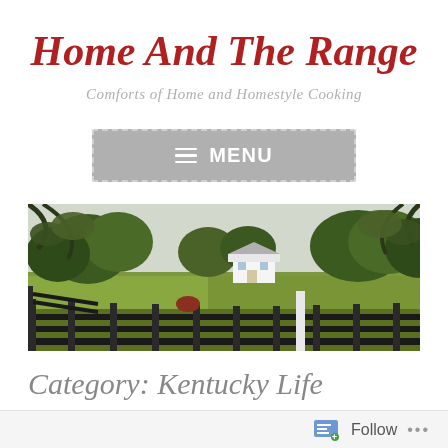Home And The Range
Comforts of Home and Homestyle Cooking
≡ MENU
[Figure (photo): Farm landscape with wooden fence in foreground, green fields, trees, and a white farmhouse in the background under an overcast sky.]
Category: Kentucky Life
Follow ...